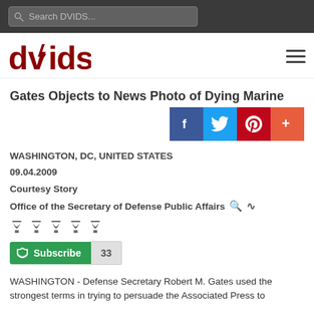Search DVIDS...
[Figure (logo): DVIDS logo in dark red with stylized lightning bolt through the letter V]
Gates Objects to News Photo of Dying Marine
[Figure (infographic): Social share buttons: Facebook (blue), Twitter (light blue), Pinterest (red), Plus (orange-red)]
WASHINGTON, DC, UNITED STATES
09.04.2009
Courtesy Story
Office of the Secretary of Defense Public Affairs
[Figure (infographic): Five trophy icons indicating awards]
Subscribe  33
WASHINGTON - Defense Secretary Robert M. Gates used the strongest terms in trying to persuade the Associated Press to